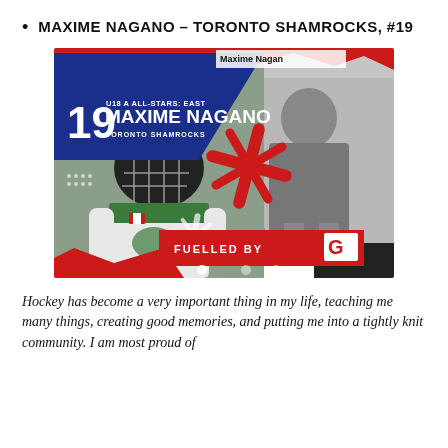MAXIME NAGANO – TORONTO SHAMROCKS, #19
[Figure (photo): Composite promotional image showing Maxime Nagano as a U18 A All-Stars East selection for Toronto Shamrocks, #19. Left side shows a color photo of a hockey player in green/white uniform with a Canadian flag patch crouched on ice. Right side shows a black and white photo of a young Maxime Nagano in hockey gear on ice. Blue navy overlay on top-left reads 'U18 A ALL-STARS: EAST 19 MAXIME NAGANO TORONTO SHAMROCKS'. A red asterisk/splatter design overlaps the middle. Bottom has a red 'FUELLED BY' bar with Gatorade G logo. Red torn paper design elements frame the image. Dot indicators at bottom. 'Maxime Nagan' name banner at top right.]
Hockey has become a very important thing in my life, teaching me many things, creating good memories, and putting me into a tightly knit community. I am most proud of